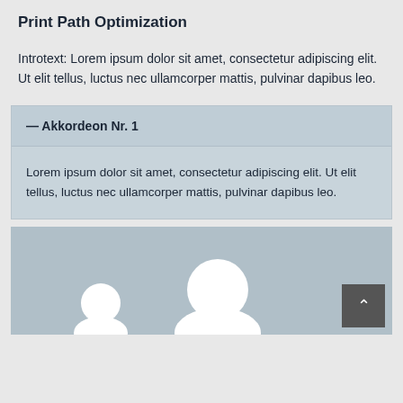Print Path Optimization
Introtext: Lorem ipsum dolor sit amet, consectetur adipiscing elit. Ut elit tellus, luctus nec ullamcorper mattis, pulvinar dapibus leo.
— Akkordeon Nr. 1
Lorem ipsum dolor sit amet, consectetur adipiscing elit. Ut elit tellus, luctus nec ullamcorper mattis, pulvinar dapibus leo.
[Figure (illustration): Placeholder image area with light blue-grey background and white silhouette shapes suggesting a generic image placeholder]